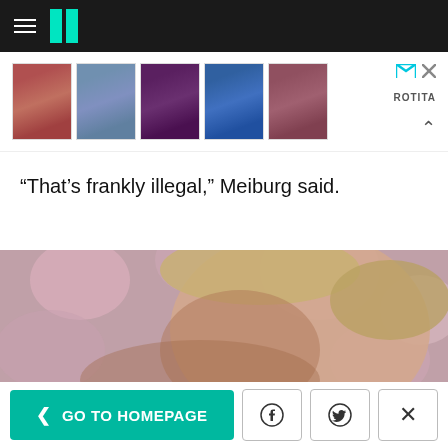HuffPost navigation header
[Figure (other): Advertisement banner showing women's clothing items from ROTITA brand, with 5 product images of blouses/tops]
“That’s frankly illegal,” Meiburg said.
[Figure (photo): Close-up photo of Donald Trump looking upward, with blurred pink/magenta blossoms in the background]
< GO TO HOMEPAGE | Facebook share | Twitter share | Close